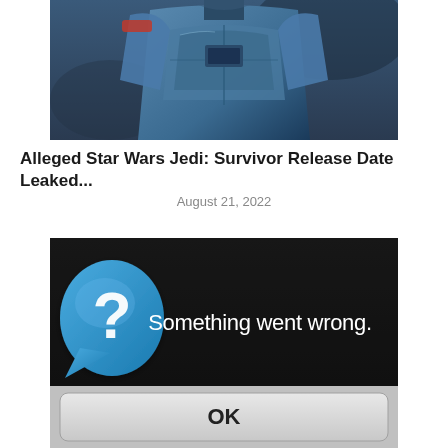[Figure (photo): Close-up photo of a blue armored character or soldier figure, cropped showing chest and shoulder area with blue and gray armor plating]
Alleged Star Wars Jedi: Survivor Release Date Leaked...
August 21, 2022
[Figure (screenshot): Screenshot of a PlayStation error dialog on dark background. Features a blue speech bubble icon with a white question mark on the left, text 'Something went wrong.' in white on dark background, and an OK button at the bottom on a lighter panel.]